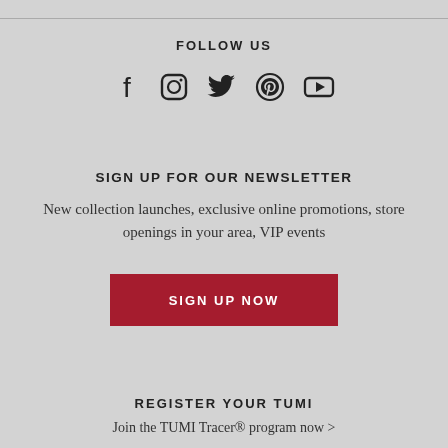FOLLOW US
[Figure (illustration): Five social media icons: Facebook, Instagram, Twitter, Pinterest, YouTube]
SIGN UP FOR OUR NEWSLETTER
New collection launches, exclusive online promotions, store openings in your area, VIP events
SIGN UP NOW
REGISTER YOUR TUMI
Join the TUMI Tracer® program now >